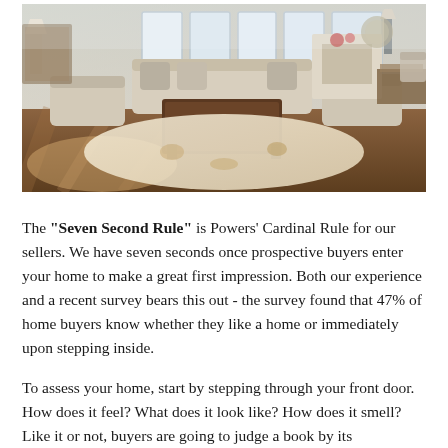[Figure (photo): Interior photo of a well-staged, bright living room with hardwood floors, cream-colored upholstered chairs and sofa, a dark wood coffee table, a floral area rug, and large windows letting in natural light. A dining area is visible in the background.]
The "Seven Second Rule" is Powers' Cardinal Rule for our sellers.  We have seven seconds once prospective buyers enter your home to make a great first impression.  Both our experience and a recent survey bears this out - the survey found that 47% of home buyers know whether they like a home or immediately upon stepping inside.
To assess your home, start by stepping through your front door. How does it feel? What does it look like? How does it smell? Like it or not, buyers are going to judge a book by its